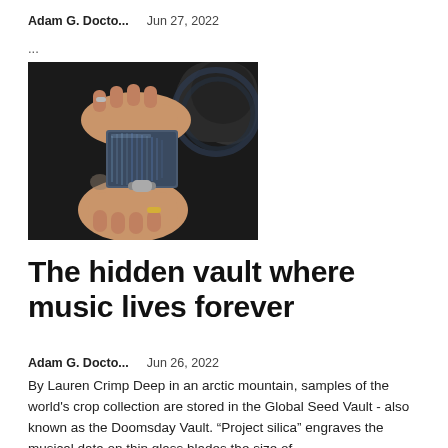Adam G. Docto...    Jun 27, 2022
...
[Figure (photo): Two hands holding a small square piece of glass or storage media, with dark cables and equipment in the background.]
The hidden vault where music lives forever
Adam G. Docto...    Jun 26, 2022
By Lauren Crimp Deep in an arctic mountain, samples of the world's crop collection are stored in the Global Seed Vault - also known as the Doomsday Vault. “Project silica” engraves the musical data on thin glass blades the size of…